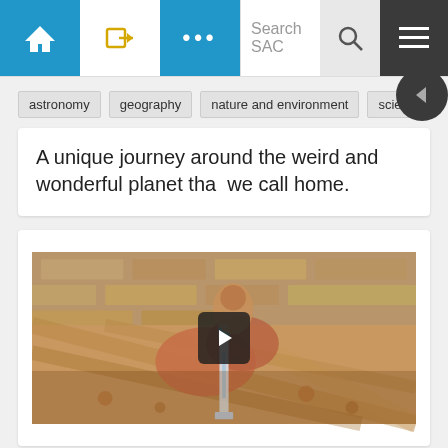SAC navigation bar with home, login, more, search, and menu buttons
astronomy
geography
nature and environment
science and nature
A unique journey around the weird and wonderful planet that we call home.
[Figure (photo): Video thumbnail showing hands holding a syringe/injection device over a decorated fabric or carpet surface, with a play button overlay in the center]